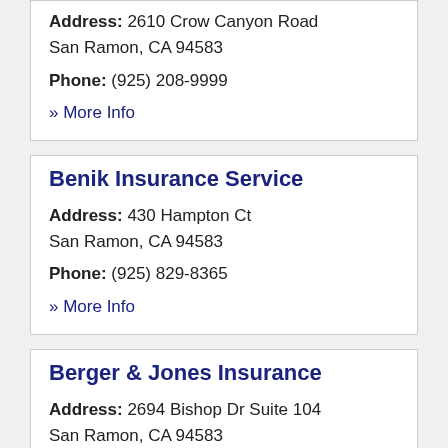Address: 2610 Crow Canyon Road San Ramon, CA 94583
Phone: (925) 208-9999
» More Info
Benik Insurance Service
Address: 430 Hampton Ct San Ramon, CA 94583
Phone: (925) 829-8365
» More Info
Berger & Jones Insurance
Address: 2694 Bishop Dr Suite 104 San Ramon, CA 94583
Phone: (925) 277-0000